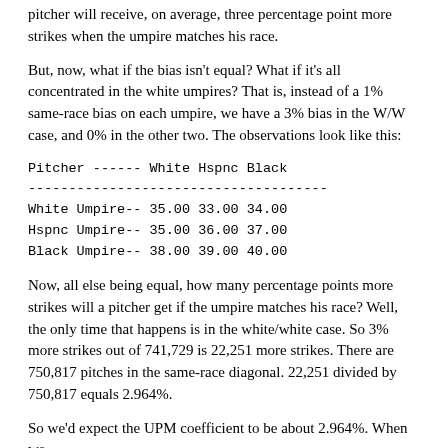pitcher will receive, on average, three percentage point more strikes when the umpire matches his race.
But, now, what if the bias isn't equal? What if it's all concentrated in the white umpires? That is, instead of a 1% same-race bias on each umpire, we have a 3% bias in the W/W case, and 0% in the other two. The observations look like this:
| Pitcher | White | Hspnc | Black |
| --- | --- | --- | --- |
| White Umpire-- | 35.00 | 33.00 | 34.00 |
| Hspnc Umpire-- | 35.00 | 36.00 | 37.00 |
| Black Umpire-- | 38.00 | 39.00 | 40.00 |
Now, all else being equal, how many percentage points more strikes will a pitcher get if the umpire matches his race? Well, the only time that happens is in the white/white case. So 3% more strikes out of 741,729 is 22,251 more strikes. There are 750,817 pitches in the same-race diagonal. 22,251 divided by 750,817 equals 2.964%.
So we'd expect the UPM coefficient to be about 2.964%. When we